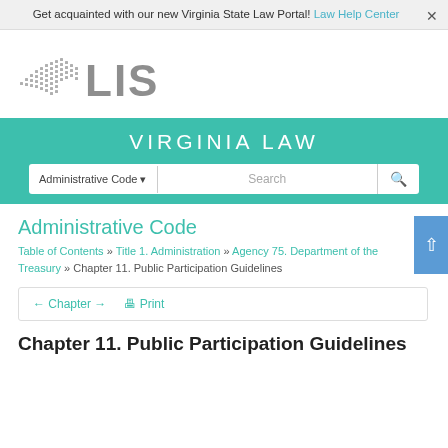Get acquainted with our new Virginia State Law Portal! Law Help Center
[Figure (logo): LIS Virginia Law portal logo — Virginia state outline shape in grey dots pattern next to bold grey letters LIS]
VIRGINIA LAW
Administrative Code
Table of Contents » Title 1. Administration » Agency 75. Department of the Treasury » Chapter 11. Public Participation Guidelines
← Chapter → Print
Chapter 11. Public Participation Guidelines